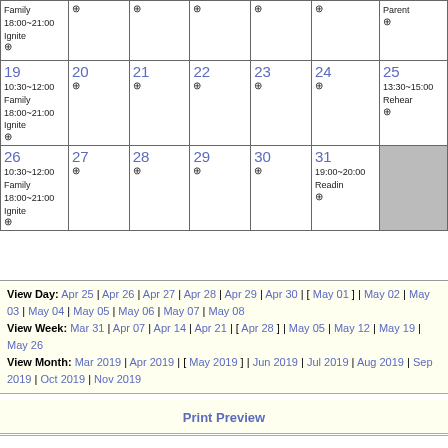| Sun | Mon | Tue | Wed | Thu | Fri | Sat |
| --- | --- | --- | --- | --- | --- | --- |
| (partial top row - clipped) |  |  |  |  |  | Parent 18:00~21:00 Ignite + |
| 19 10:30~12:00 Family 18:00~21:00 Ignite + | 20 + | 21 + | 22 + | 23 + | 24 + | 25 13:30~15:00 Rehear + |
| 26 10:30~12:00 Family 18:00~21:00 Ignite + | 27 + | 28 + | 29 + | 30 + | 31 19:00~20:00 Readin + | (gray) |
View Day: Apr 25 | Apr 26 | Apr 27 | Apr 28 | Apr 29 | Apr 30 | [ May 01 ] | May 02 | May 03 | May 04 | May 05 | May 06 | May 07 | May 08
View Week: Mar 31 | Apr 07 | Apr 14 | Apr 21 | [ Apr 28 ] | May 05 | May 12 | May 19 | May 26
View Month: Mar 2019 | Apr 2019 | [ May 2019 ] | Jun 2019 | Jul 2019 | Aug 2019 | Sep 2019 | Oct 2019 | Nov 2019
Print Preview